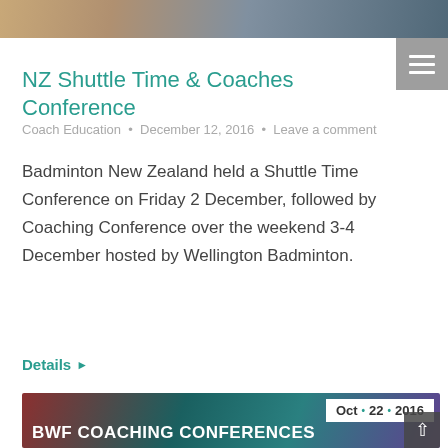[Figure (photo): Top image strip showing a badminton scene]
NZ Shuttle Time & Coaches Conference
Coach Education  •  December 12, 2016  •  Leave a comment
Badminton New Zealand held a Shuttle Time Conference on Friday 2 December, followed by Coaching Conference over the weekend 3-4 December hosted by Wellington Badminton.
Details ▶
[Figure (photo): BWF Coaching Conferences promotional image with date badge Oct • 22 • 2016 and faces of coaches in the background]